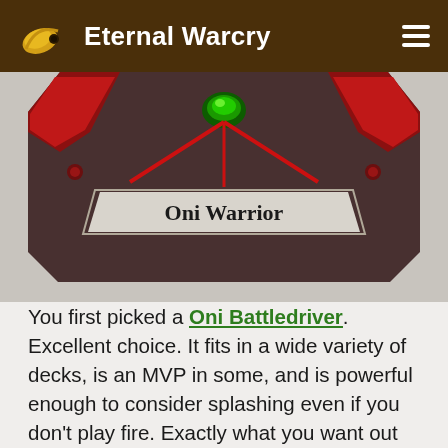Eternal Warcry
[Figure (illustration): Partial game card image showing 'Oni Warrior' card from Eternal card game — red/dark metallic frame with a green gem at top center, card name banner reading 'Oni Warrior' in bold serif text on a light gray parchment background]
You first picked a Oni Battledriver. Excellent choice. It fits in a wide variety of decks, is an MVP in some, and is powerful enough to consider splashing even if you don't play fire. Exactly what you want out of your first pick. This card, however, is far more effective in some builds than others. Fire decks are usually aggressive, but this card also allows you to win a later game, so it can go in a midrange deck just as easily. Your general